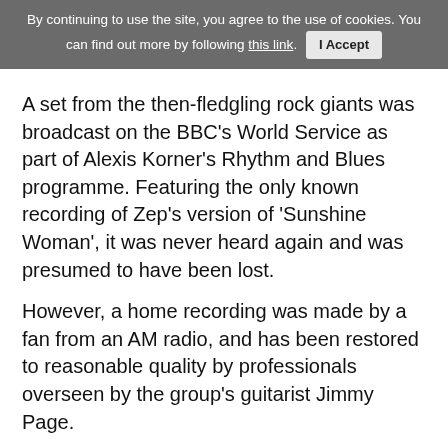By continuing to use the site, you agree to the use of cookies. You can find out more by following this link. I Accept
A set from the then-fledgling rock giants was broadcast on the BBC’s World Service as part of Alexis Korner’s Rhythm and Blues programme. Featuring the only known recording of Zep’s version of ‘Sunshine Woman’, it was never heard again and was presumed to have been lost.
However, a home recording was made by a fan from an AM radio, and has been restored to reasonable quality by professionals overseen by the group’s guitarist Jimmy Page.
[Figure (photo): Three members of Led Zeppelin standing in front of a Led Zeppelin branded backdrop/step-and-repeat banner]